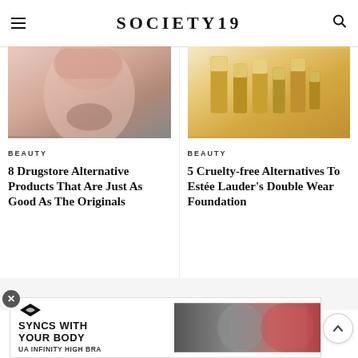SOCIETY19
[Figure (photo): Close-up photo of a woman's face/neck, soft pink skin tones, dark hair visible]
BEAUTY
8 Drugstore Alternative Products That Are Just As Good As The Originals
[Figure (photo): Gold makeup/foundation bottles and products on white background]
BEAUTY
5 Cruelty-free Alternatives To Estée Lauder's Double Wear Foundation
[Figure (screenshot): Under Armour advertisement banner: SYNCS WITH YOUR BODY, UA INFINITY HIGH BRA, with fitness imagery]